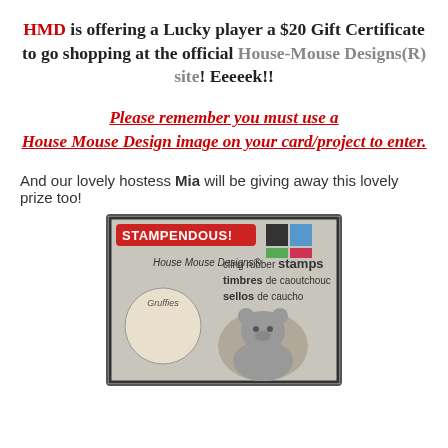HMD is offering a Lucky player a $20 Gift Certificate to go shopping at the official House-Mouse Designs(R) site! Eeeeek!!
Please remember you must use a House Mouse Design image on your card/project to enter.
And our lovely hostess Mia will be giving away this lovely prize too!
[Figure (photo): A Stampendous House Mouse Designs cling rubber stamps package featuring a bear figure stamp, with 'timbres de caoutchouc' and 'sellos de caucho' text visible on the packaging.]